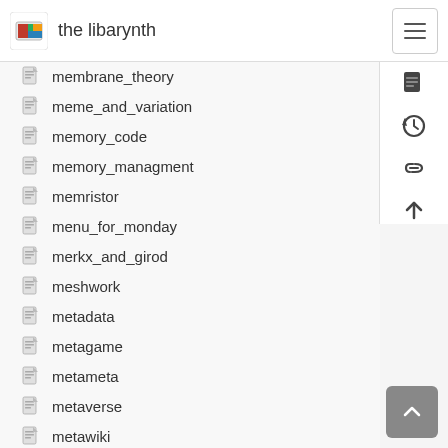the libarynth
membrane_theory
meme_and_variation
memory_code
memory_managment
memristor
menu_for_monday
merkx_and_girod
meshwork
metadata
metagame
metameta
metaverse
metawiki
meta_object_protocol
meteorological_disasters
metric_conversion
metric_time
miat